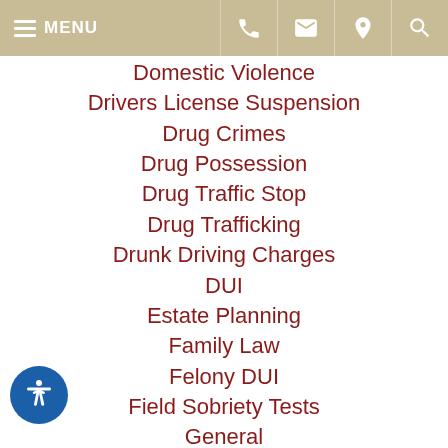MENU [navigation icons: phone, email, location, search]
Domestic Violence
Drivers License Suspension
Drug Crimes
Drug Possession
Drug Traffic Stop
Drug Trafficking
Drunk Driving Charges
DUI
Estate Planning
Family Law
Felony DUI
Field Sobriety Tests
General
High Asset Divorce
Internet Crime
Paternity
Personal Injury
Premarital & Domestic Partnership Agreement
Premises Liability
Prenuptial Postnuptial Agreement